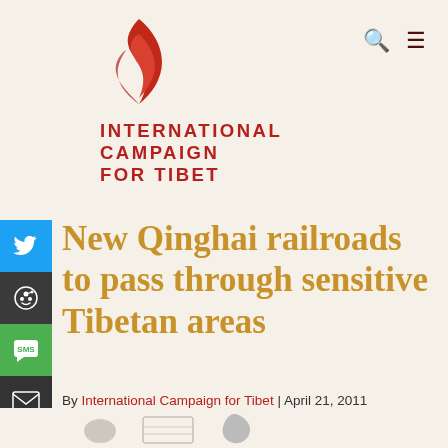International Campaign for Tibet
New Qinghai railroads to pass through sensitive Tibetan areas
By International Campaign for Tibet | April 21, 2011